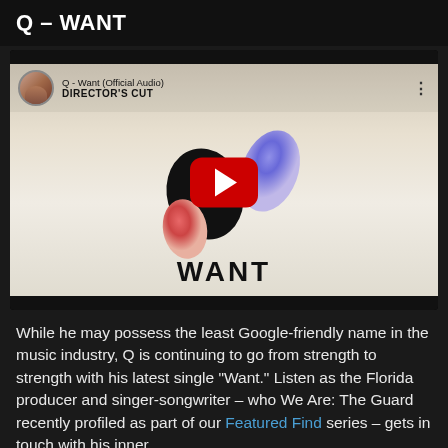Q – WANT
[Figure (screenshot): YouTube video embed showing Q - Want (Official Audio) with Director's Cut overlay text, YouTube play button, decorative abstract blobs, and WANT text at the bottom. Video thumbnail has a light beige/cream background.]
While he may possess the least Google-friendly name in the music industry, Q is continuing to go from strength to strength with his latest single "Want." Listen as the Florida producer and singer-songwriter – who We Are: The Guard recently profiled as part of our Featured Find series – gets in touch with his inner